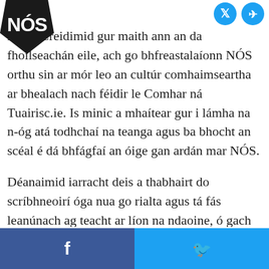NÓS logo and social icons
mhar. Creidimid gur maith ann an da fhoilseachán eile, ach go bhfreastalaíonn NÓS orthu sin ar mór leo an cultúr comhaimseartha ar bhealach nach féidir le Comhar ná Tuairisc.ie. Is minic a mhaítear gur i lámha na n-óg atá todhchaí na teanga agus ba bhocht an scéal é dá bhfágfaí an óige gan ardán mar NÓS.
Déanaimid iarracht deis a thabhairt do scríbhneoirí óga nua go rialta agus tá fás leanúnach ag teacht ar líon na ndaoine, ó gach cearn den tír seo agus ó thíortha eile, a bhíonn ag scríobh dúinn ar iliomad ábhar. Tá scríbhneoirí rialta againn atá lonnaithe i ngach cúige in Éirinn, ar Mhór-Roinn na hEorpa
Facebook | Twitter